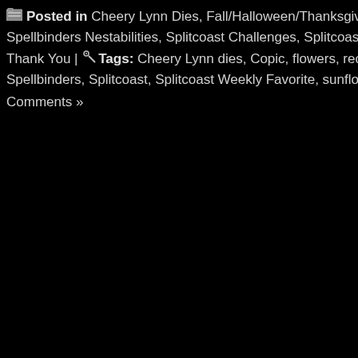Posted in Cheery Lynn Dies, Fall/Halloween/Thanksgiving, Serendipity Spellbinders Nestabilities, Splitcoast Challenges, Splitcoaststampers Week Thank You |  Tags: Cheery Lynn dies, Copic, flowers, recycle, Serendip Spellbinders, Splitcoast, Splitcoast Weekly Favorite, sunflowers, Thanksgi Comments »